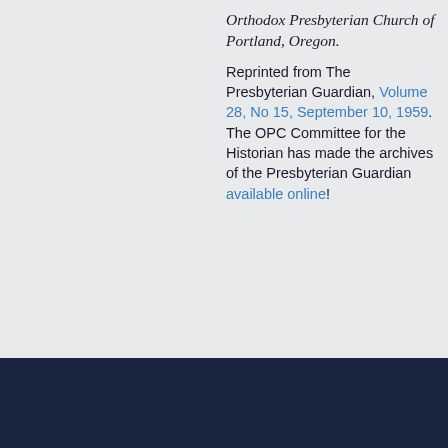Orthodox Presbyterian Church of Portland, Oregon.
Reprinted from The Presbyterian Guardian, Volume 28, No 15, September 10, 1959. The OPC Committee for the Historian has made the archives of the Presbyterian Guardian available online!
The Orthodox | CONTACT US | +1 215 830 0900 | ABOUT US | Our History | © 2022 Ortho Presbyte...